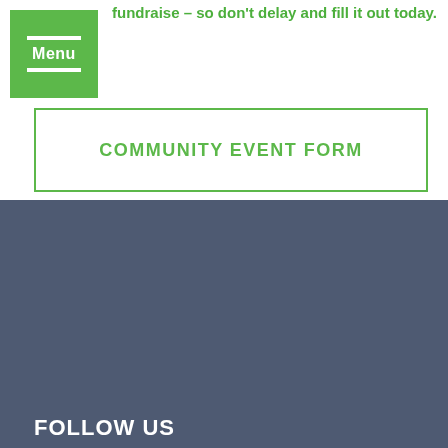fundraise – so don't delay and fill it out today.
COMMUNITY EVENT FORM
FOLLOW US
[Figure (illustration): Social media icons: LinkedIn, Facebook, Instagram, Twitter in white on dark blue-grey background]
ABOUT ARBI
PROGRAMS & SERVICES